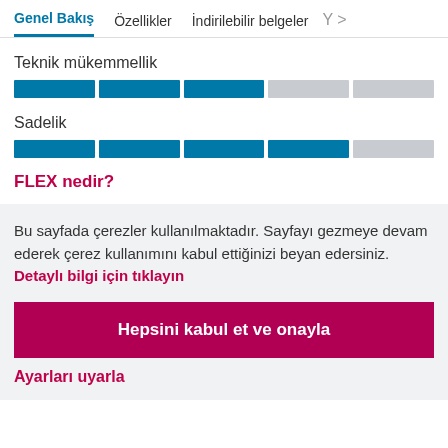Genel Bakış  Özellikler  İndirilebilir belgeler  Y >
Teknik mükemmellik
[Figure (infographic): Rating bar for Teknik mükemmellik: 3 out of 5 segments filled in blue]
Sadelik
[Figure (infographic): Rating bar for Sadelik: 4 out of 5 segments filled in blue]
FLEX nedir?
Bu sayfada çerezler kullanılmaktadır. Sayfayı gezmeye devam ederek çerez kullanımını kabul ettiğinizi beyan edersiniz. Detaylı bilgi için tıklayın
Hepsini kabul et ve onayla
Ayarları uyarla